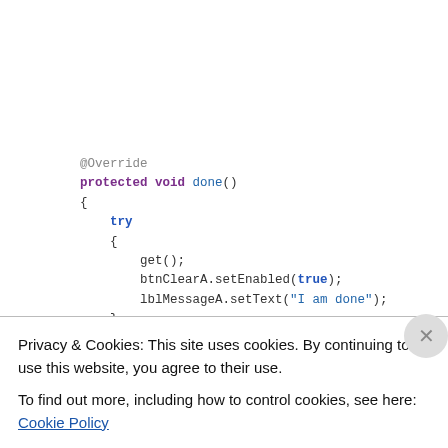@Override
protected void done()
{
    try
    {
        get();
        btnClearA.setEnabled(true);
        lblMessageA.setText("I am done");
    }
    catch (Exception e)
    {
        lblMessageA.setText(e.getLocalizedMessage());
        log(e);
    }
}//done
};
}//setBackTaskA
Privacy & Cookies: This site uses cookies. By continuing to use this website, you agree to their use.
To find out more, including how to control cookies, see here: Cookie Policy